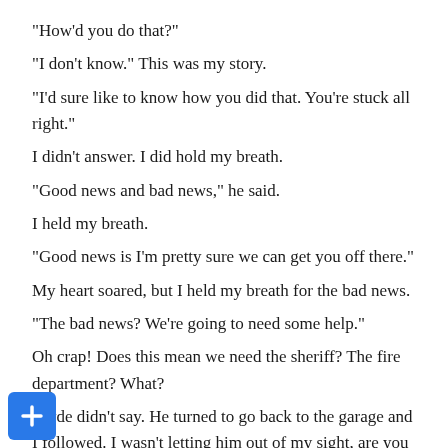“How’d you do that?”
“I don’t know.” This was my story.
“I’d sure like to know how you did that. You’re stuck all right.”
I didn’t answer. I did hold my breath.
“Good news and bad news,” he said.
I held my breath.
“Good news is I’m pretty sure we can get you off there.”
My heart soared, but I held my breath for the bad news.
“The bad news? We’re going to need some help.”
Oh crap! Does this mean we need the sheriff? The fire department? What?
Clyde didn’t say. He turned to go back to the garage and I followed. I wasn’t letting him out of my sight, are you kidding?
“Yep, she’s stuck but good, over there.”
“How’d she do it?
She doesn’t know.” He laughed. “You ought to come take a look.